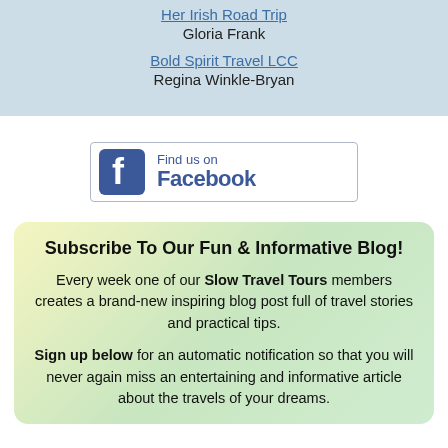Her Irish Road Trip
Gloria Frank
Bold Spirit Travel LCC
Regina Winkle-Bryan
[Figure (logo): Find us on Facebook button with Facebook logo icon]
Subscribe To Our Fun & Informative Blog!
Every week one of our Slow Travel Tours members creates a brand-new inspiring blog post full of travel stories and practical tips.
Sign up below for an automatic notification so that you will never again miss an entertaining and informative article about the travels of your dreams.